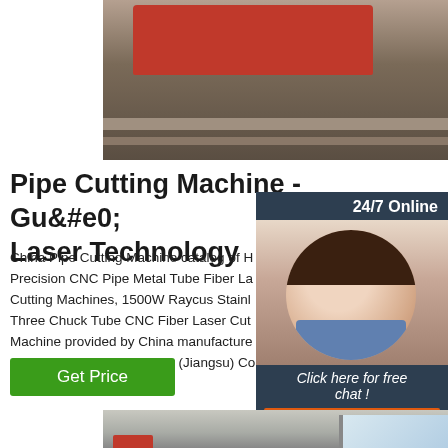[Figure (photo): Industrial laser cutting machine, red equipment on rails in a workshop setting]
Pipe Cutting Machine - Guohong Laser Technology
China Pipe Cutting Machine catalog of High Precision CNC Pipe Metal Tube Fiber Laser Cutting Machines, 1500W Raycus Stainless Three Chuck Tube CNC Fiber Laser Cutting Machine provided by China manufacturer - Guohong Laser Technology (Jiangsu) Co., page1.
[Figure (photo): 24/7 Online chat widget with a female customer service agent wearing a headset, with Click here for free chat and QUOTATION button]
[Figure (photo): Bottom image of laser cutting machine in factory with windows in background]
Get Price